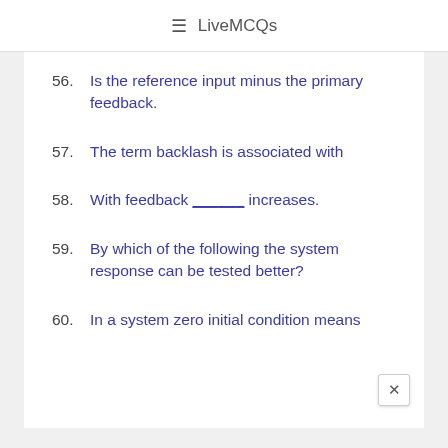≡ LiveMCQs
56. Is the reference input minus the primary feedback.
57. The term backlash is associated with
58. With feedback ______ increases.
59. By which of the following the system response can be tested better?
60. In a system zero initial condition means